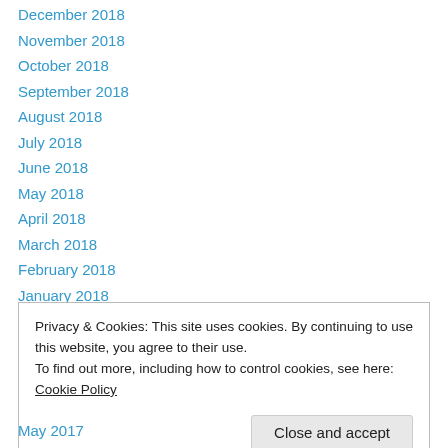December 2018
November 2018
October 2018
September 2018
August 2018
July 2018
June 2018
May 2018
April 2018
March 2018
February 2018
January 2018
December 2017
Privacy & Cookies: This site uses cookies. By continuing to use this website, you agree to their use. To find out more, including how to control cookies, see here: Cookie Policy
May 2017